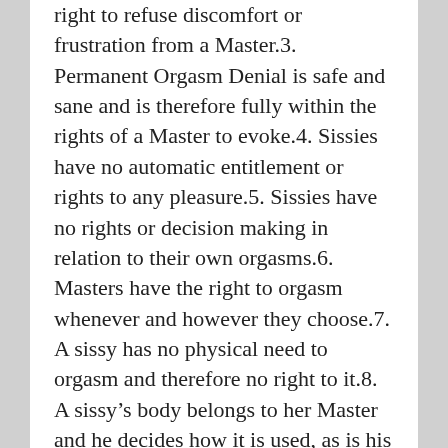right to refuse discomfort or frustration from a Master.3. Permanent Orgasm Denial is safe and sane and is therefore fully within the rights of a Master to evoke.4. Sissies have no automatic entitlement or rights to any pleasure.5. Sissies have no rights or decision making in relation to their own orgasms.6. Masters have the right to orgasm whenever and however they choose.7. A sissy has no physical need to orgasm and therefore no right to it.8. A sissy's body belongs to her Master and he decides how it is used, as is his right.Benefits of Orgasm Denial:9. Orgasm denial makes me more subservient and willing to do domestic work.10. Orgasm denial helps me to see all forms of service as being of equal importance.11. Orgasm denial helps me prioritize